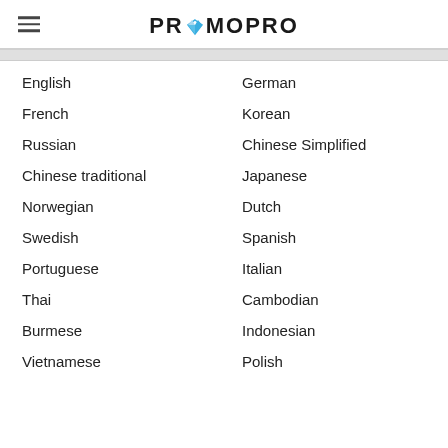PROMOPRO
English
German
French
Korean
Russian
Chinese Simplified
Chinese traditional
Japanese
Norwegian
Dutch
Swedish
Spanish
Portuguese
Italian
Thai
Cambodian
Burmese
Indonesian
Vietnamese
Polish